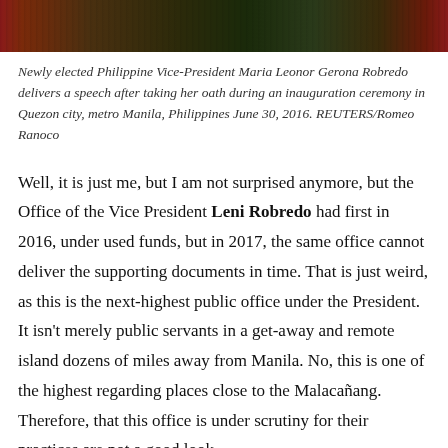[Figure (photo): Top portion of a photo showing Philippine Vice-President Leni Robredo at an inauguration ceremony, with a decorative wooden backdrop and official seal visible.]
Newly elected Philippine Vice-President Maria Leonor Gerona Robredo delivers a speech after taking her oath during an inauguration ceremony in Quezon city, metro Manila, Philippines June 30, 2016. REUTERS/Romeo Ranoco
Well, it is just me, but I am not surprised anymore, but the Office of the Vice President Leni Robredo had first in 2016, under used funds, but in 2017, the same office cannot deliver the supporting documents in time. That is just weird, as this is the next-highest public office under the President. It isn't merely public servants in a get-away and remote island dozens of miles away from Manila. No, this is one of the highest regarding places close to the Malacañang. Therefore, that this office is under scrutiny for their practices are not a good look.